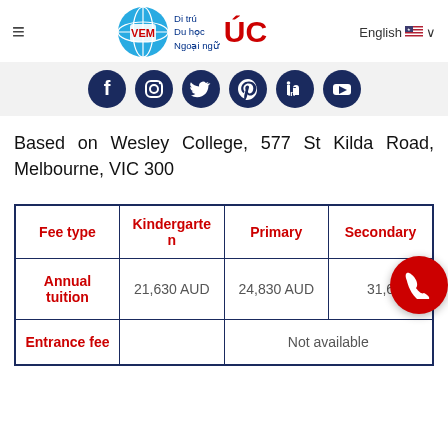VEM - Di trú Du học Ngoại ngữ ÚC | English
[Figure (infographic): Social media icon bar with Facebook, Instagram, Twitter, Pinterest, LinkedIn, YouTube icons on dark blue circular backgrounds]
Based on Wesley College, 577 St Kilda Road, Melbourne, VIC 300
| Fee type | Kindergarten | Primary | Secondary |
| --- | --- | --- | --- |
| Annual tuition | 21,630 AUD | 24,830 AUD | 31,6... |
| Entrance fee |  | Not available |  |